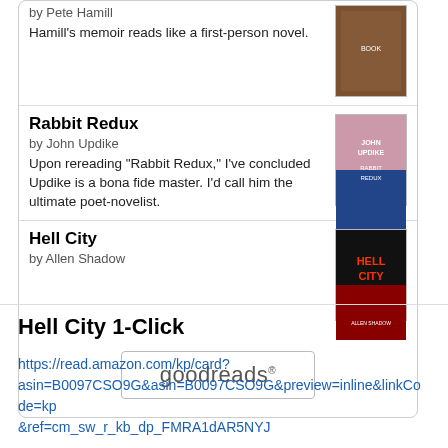by Pete Hamill
Hamill's memoir reads like a first-person novel.
Rabbit Redux
by John Updike
Upon rereading "Rabbit Redux," I've concluded Updike is a bona fide master. I'd call him the ultimate poet-novelist.
Hell City
by Allen Shadow
[Figure (logo): goodreads logo button]
Hell City 1-Click
https://read.amazon.com/kp/card?asin=B0097CSO9G&asin=B0097CSO9G&preview=inline&linkCode=kp